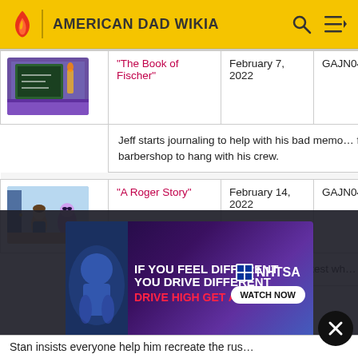AMERICAN DAD WIKIA
| Thumbnail | Title | Air Date | Code | Description |
| --- | --- | --- | --- | --- |
| [image] | "The Book of Fischer" | February 7, 2022 | GAJN04 | Jeff starts journaling to help with his bad memo… favorite barbershop to hang with his crew. |
| [image] | "A Roger Story" | February 14, 2022 | GAJN04 | Steve and Snot's friendship is put to the test wh… fight. |
[Figure (infographic): NHTSA advertisement: IF YOU FEEL DIFFERENT YOU DRIVE DIFFERENT DRIVE HIGH GET A DUI — WATCH NOW]
Stan insists everyone help him recreate the rus…